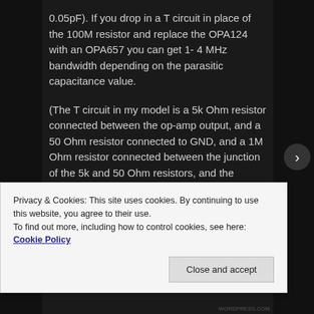0.05pF). If you drop in a T circuit in place of the 100M resistor and replace the OPA124 with an OPA657 you can get 1- 4 MHz bandwidth depending on the parasitic capacitance value.
(The T circuit in my model is a 5k Ohm resistor connected between the op-amp output, and a 50 Ohm resistor connected to GND, and a 1M Ohm resistor connected between the junction of the 5k and 50 Ohm resistors, and the inverting input of the op-amp. This gives the
Privacy & Cookies: This site uses cookies. By continuing to use this website, you agree to their use.
To find out more, including how to control cookies, see here: Cookie Policy
Close and accept
WORDPRESS.COM